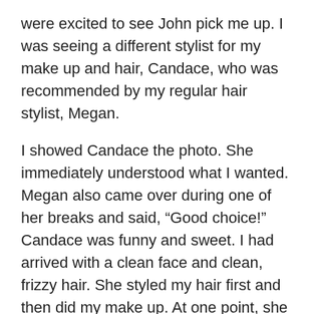were excited to see John pick me up. I was seeing a different stylist for my make up and hair, Candace, who was recommended by my regular hair stylist, Megan.
I showed Candace the photo. She immediately understood what I wanted. Megan also came over during one of her breaks and said, “Good choice!” Candace was funny and sweet. I had arrived with a clean face and clean, frizzy hair. She styled my hair first and then did my make up. At one point, she said, “You are looking really glamorous, Dude. You clean up well.” When she was finished, I could tell that she was proud of her work. She said, “Let me parade you around the salon.” I followed her to the other side of the salon, where Megan was working. She also approved.
I was very pleased. Candace took a couple of photos of